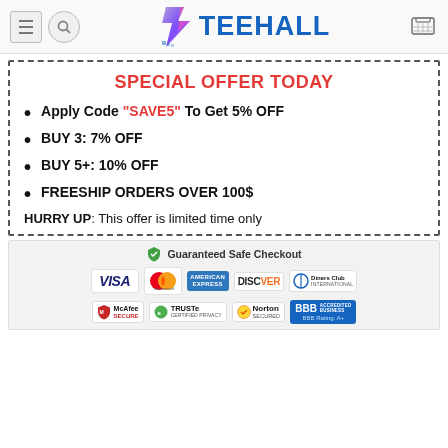TEEHALL
SPECIAL OFFER TODAY
Apply Code "SAVE5" To Get 5% OFF
BUY 3: 7% OFF
BUY 5+: 10% OFF
FREESHIP ORDERS OVER 100$
HURRY UP: This offer is limited time only
[Figure (infographic): Guaranteed Safe Checkout section with payment logos: VISA, Mastercard, American Express, Discover, Diners Club International, McAfee Secure, TRUSTe Certified Privacy, Norton Secured, BBB Accredited Business A+]